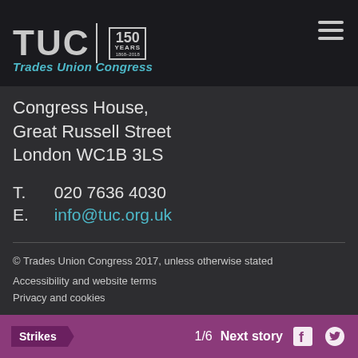[Figure (logo): TUC 150 Years logo — Trades Union Congress header with hamburger menu]
Trades Union Congress
Congress House,
Great Russell Street
London WC1B 3LS
T.  020 7636 4030
E.  info@tuc.org.uk
© Trades Union Congress 2017, unless otherwise stated
Accessibility and website terms
Privacy and cookies
Strikes  1/6  Next story  f  [twitter]